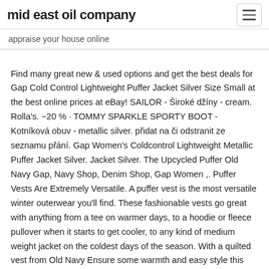mid east oil company
appraise your house online
Find many great new & used options and get the best deals for Gap Cold Control Lightweight Puffer Jacket Silver Size Small at the best online prices at eBay! SAILOR - Široké džíny - cream. Rolla's. −20 % · TOMMY SPARKLE SPORTY BOOT - Kotníková obuv - metallic silver. přidat na či odstranit ze seznamu přání. Gap Women's Coldcontrol Lightweight Metallic Puffer Jacket Silver. Jacket Silver. The Upcycled Puffer Old Navy Gap, Navy Shop, Denim Shop, Gap Women ,. Puffer Vests Are Extremely Versatile. A puffer vest is the most versatile winter outerwear you'll find. These fashionable vests go great with anything from a tee on warmer days, to a hoodie or fleece pullover when it starts to get cooler, to any kind of medium weight jacket on the coldest days of the season. With a quilted vest from Old Navy Ensure some warmth and easy style this winter with comfortable puffer vests and jackets for women from Gap. Warmth and Style in One Piece. Discover a great selection available in eye-catching colors and unique designs. Add some